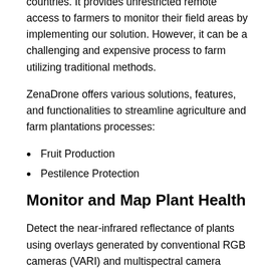countries. It provides unrestricted remote access to farmers to monitor their field areas by implementing our solution. However, it can be a challenging and expensive process to farm utilizing traditional methods.
ZenaDrone offers various solutions, features, and functionalities to streamline agriculture and farm plantations processes:
Fruit Production
Pestilence Protection
Monitor and Map Plant Health
Detect the near-infrared reflectance of plants using overlays generated by conventional RGB cameras (VARI) and multispectral camera systems. It can detect early plant stress invisible to the naked eye